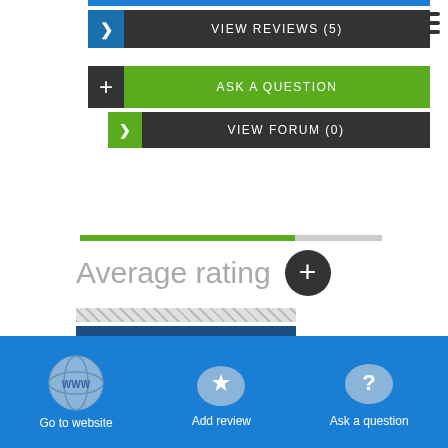[Figure (screenshot): VIEW REVIEWS (5) button with dark background and blue arrow icon on left]
[Figure (screenshot): Hamburger menu icon (three horizontal lines) in top right]
[Figure (screenshot): ASK A QUESTION button with green background and dark plus icon on left]
[Figure (screenshot): VIEW FORUM (0) button with dark background and green arrow icon on left]
[Figure (infographic): Green/grey progress bar]
Average rating
[Figure (bar-chart): Rating chart with hatched area on top and blue bar below]
Total
[Figure (infographic): Bottom navigation bar with Go to website, Add review, Ask a question icons]
Go to website
Add review
Ask a question